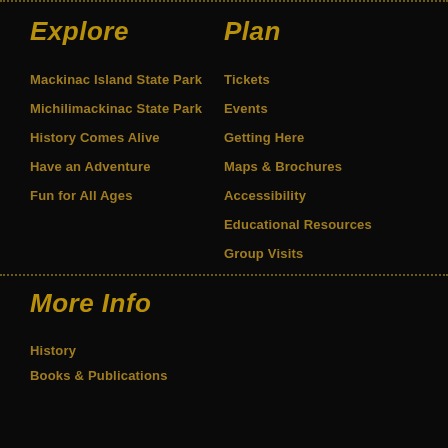Explore
Plan
Mackinac Island State Park
Tickets
Michilimackinac State Park
Events
History Comes Alive
Getting Here
Have an Adventure
Maps & Brochures
Fun for All Ages
Accessibility
Educational Resources
Group Visits
More Info
History
Books & Publications